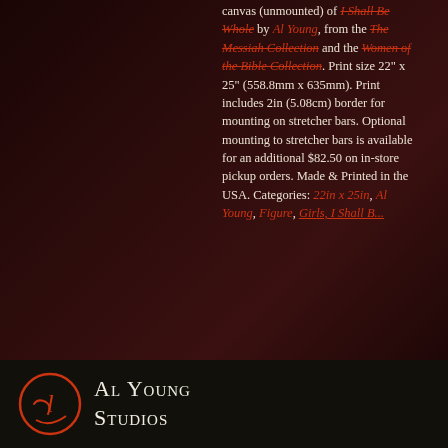canvas (unmounted) of I Shall Be Whole by Al Young, from the The Messiah Collection and the Women of the Bible Collection. Print size 22" x 25" (558.8mm x 635mm). Print includes 2in (5.08cm) border for mounting on stretcher bars. Optional mounting to stretcher bars is available for an additional $82.50 on in-store pickup orders. Made & Printed in the USA. Categories: 22in x 25in, Al Young, Figure, Girls, I Shall B...
[Figure (other): Quantity input field showing '1' with Buy Now and Add to Cart green buttons]
[Figure (logo): Al Young Studios footer logo with circular red script monogram and white small-caps text]